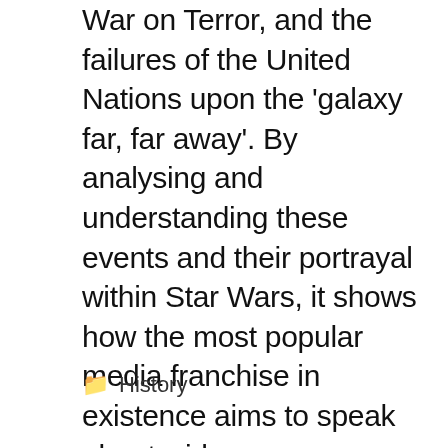War on Terror, and the failures of the United Nations upon the 'galaxy far, far away'. By analysing and understanding these events and their portrayal within Star Wars, it shows how the most popular media franchise in existence aims to speak about wider contemporary events and issues. The History and Politics of Star Wars is useful for upper-level undergraduates, postgraduates, and scholars of a variety of disciplines such as transmedia studies, science fiction, cultural studies, and world history and politics in the twentieth and twenty-first centuries.
🗂 History